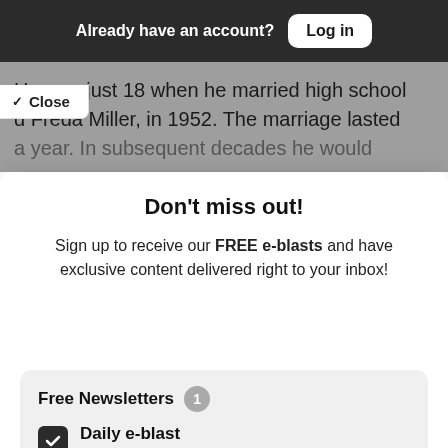Already have an account? Log in
He was just 18 when he married high school d Freda Miller, in 1952. The marriage lasted a year. In subsequent decades he would
✓ Close
Don't miss out!
Sign up to receive our FREE e-blasts and have exclusive content delivered right to your inbox!
Free Newsletters 1
Daily e-blast
Join thousands of readers who get their coverage on Black communities from the media company who has been doing it